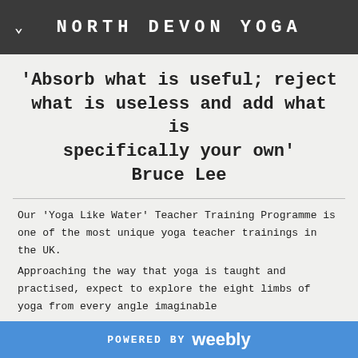NORTH DEVON YOGA
'Absorb what is useful; reject what is useless and add what is specifically your own' Bruce Lee
Our 'Yoga Like Water' Teacher Training Programme is one of the most unique yoga teacher trainings in the UK.
Approaching the way that yoga is taught and practised, expect to explore the eight limbs of yoga from every angle imaginable
breathing from traditional pranayama, free-diving techniques & Russian Systema;
POWERED BY weebly